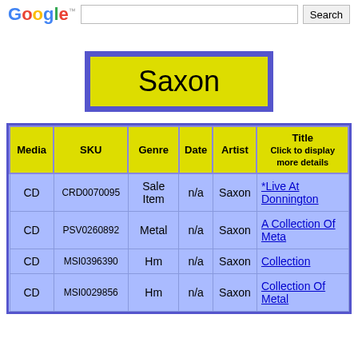Google Search
Saxon
| Media | SKU | Genre | Date | Artist | Title
Click to display more details |
| --- | --- | --- | --- | --- | --- |
| CD | CRD0070095 | Sale Item | n/a | Saxon | *Live At Donnington |
| CD | PSV0260892 | Metal | n/a | Saxon | A Collection Of Meta |
| CD | MSI0396390 | Hm | n/a | Saxon | Collection |
| CD | MSI0029856 | Hm | n/a | Saxon | Collection Of Metal |